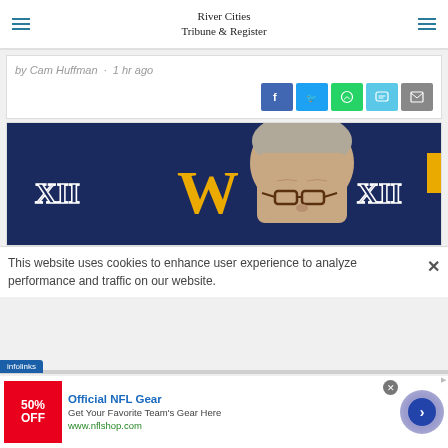River Cities Tribune & Register
by Cam Huffman · 1 hr ago
[Figure (screenshot): Social share buttons: Facebook (blue), Twitter (light blue), WhatsApp (green), Messages (teal), Email (grey)]
[Figure (photo): Man with grey hair and tortoiseshell glasses, head slightly bowed, in front of a dark blue West Virginia University (WVU) Big 12 conference backdrop with gold WV logo]
This website uses cookies to enhance user experience to analyze performance and traffic on our website.
[Figure (screenshot): NFL Shop advertisement: Official NFL Gear, 50% OFF, Get Your Favorite Team's Here, www.nflshop.com, with red banner image and infolinks badge]